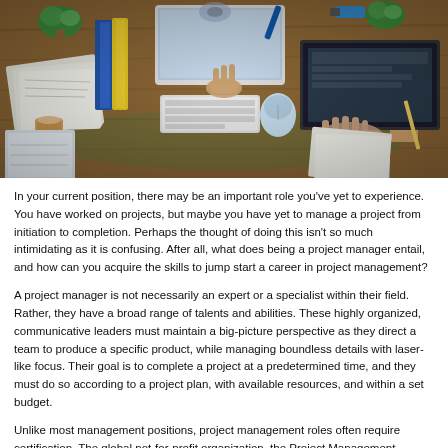[Figure (photo): Overhead/bird's-eye view of a busy office desk with multiple people working, laptops, keyboards, papers, binders, coffee cups, and office supplies on a wooden table]
In your current position, there may be an important role you've yet to experience. You have worked on projects, but maybe you have yet to manage a project from initiation to completion. Perhaps the thought of doing this isn't so much intimidating as it is confusing. After all, what does being a project manager entail, and how can you acquire the skills to jump start a career in project management?
A project manager is not necessarily an expert or a specialist within their field. Rather, they have a broad range of talents and abilities. These highly organized, communicative leaders must maintain a big-picture perspective as they direct a team to produce a specific product, while managing boundless details with laser-like focus. Their goal is to complete a project at a predetermined time, and they must do so according to a project plan, with available resources, and within a set budget.
Unlike most management positions, project management roles often require certification. The global not-for-profit organization, the Project Management